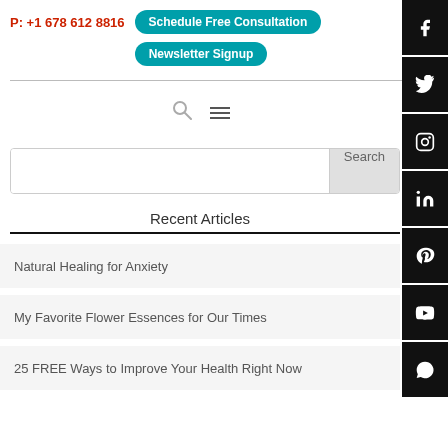P: +1 678 612 8816 | Schedule Free Consultation | Newsletter Signup
[Figure (screenshot): Search icon and hamburger menu icon in nav bar]
[Figure (screenshot): Social media icon bar: Facebook, Twitter, Instagram, LinkedIn, Pinterest, YouTube, WhatsApp]
Search
Recent Articles
Natural Healing for Anxiety
My Favorite Flower Essences for Our Times
25 FREE Ways to Improve Your Health Right Now